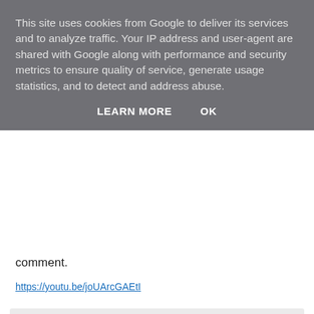This site uses cookies from Google to deliver its services and to analyze traffic. Your IP address and user-agent are shared with Google along with performance and security metrics to ensure quality of service, generate usage statistics, and to detect and address abuse.
LEARN MORE   OK
comment.
https://youtu.be/joUArcGAEtI
Stephanie Jane at Sunday, October 02, 2016
Share
No comments:
Post a Comment
I love reading all your comments, so make sure